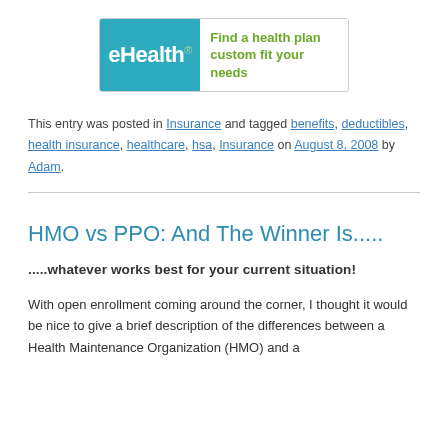[Figure (logo): eHealth logo banner with text 'Find a health plan custom fit your needs' on a teal/white background]
This entry was posted in Insurance and tagged benefits, deductibles, health insurance, healthcare, hsa, Insurance on August 8, 2008 by Adam.
HMO vs PPO: And The Winner Is.....
.....whatever works best for your current situation!
With open enrollment coming around the corner, I thought it would be nice to give a brief description of the differences between a Health Maintenance Organization (HMO) and a